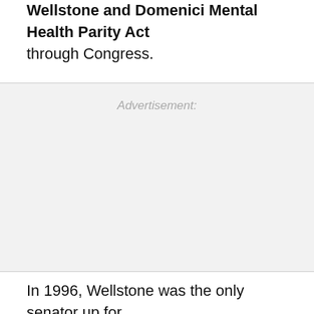Wellstone and Domenici Mental Health Parity Act through Congress.
Advertisement:
In 1996, Wellstone was the only senator up for